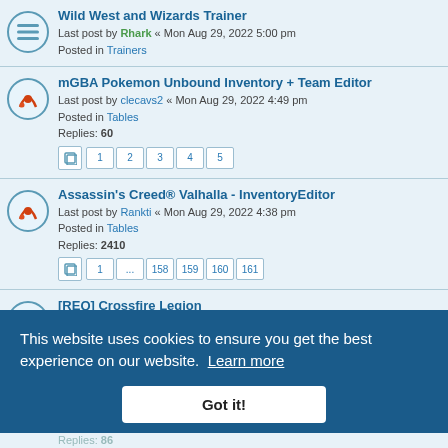Wild West and Wizards Trainer
Last post by Rhark « Mon Aug 29, 2022 5:00 pm
Posted in Trainers
mGBA Pokemon Unbound Inventory + Team Editor
Last post by clecavs2 « Mon Aug 29, 2022 4:49 pm
Posted in Tables
Replies: 60
Pages: 1 2 3 4 5
Assassin's Creed® Valhalla - InventoryEditor
Last post by Rankti « Mon Aug 29, 2022 4:38 pm
Posted in Tables
Replies: 2410
Pages: 1 ... 158 159 160 161
[REQ] Crossfire Legion
Last post by Ashley_Reborn09 « Mon Aug 29, 2022 4:25 pm
Posted in Single Player Cheat Requests
Replies: 9
Saints Row +4 (table Update2.1)
Last post by senseirain « Mon Aug 29, 2022 4:10 pm
Posted in Tables
Replies: 86
Pages: 2 3 4 5
• Farthest Frontier
Posted in Tables
Replies: 42
Pages: 1 2 3
Sword Art Online: Alicization Lycoris (Steam version only). Working for 2.01
Last post by LanceCharley255 « Mon Aug 29, 2022 3:21 pm
Posted in Tables
This website uses cookies to ensure you get the best experience on our website. Learn more
Got it!